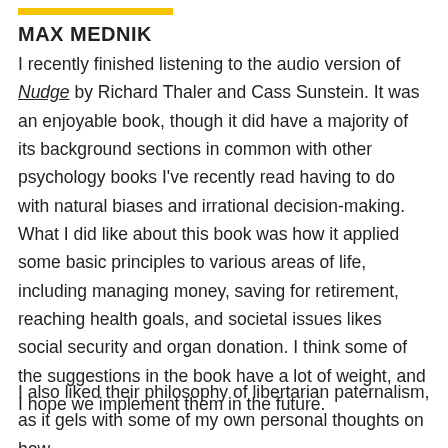MAX MEDNIK
I recently finished listening to the audio version of Nudge by Richard Thaler and Cass Sunstein. It was an enjoyable book, though it did have a majority of its background sections in common with other psychology books I've recently read having to do with natural biases and irrational decision-making. What I did like about this book was how it applied some basic principles to various areas of life, including managing money, saving for retirement, reaching health goals, and societal issues likes social security and organ donation. I think some of the suggestions in the book have a lot of weight, and I hope we implement them in the future.
I also liked their philosophy of libertarian paternalism, as it gels with some of my own personal thoughts on how